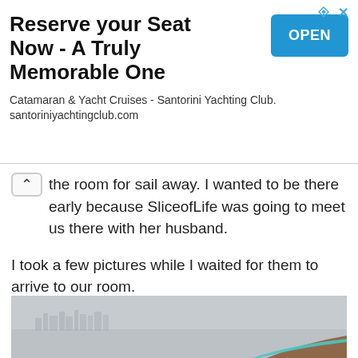[Figure (infographic): Advertisement banner: 'Reserve your Seat Now - A Truly Memorable One' for Santorini Yachting Club with an OPEN button, ad indicator arrows and close X]
the room for sail away. I wanted to be there early because SliceofLife was going to meet us there with her husband.
I took a few pictures while I waited for them to arrive to our room.
[Figure (photo): A foggy/misty view from a cruise ship balcony showing a harbour cityscape in the distance through grey haze, with a teal and brown railing visible in the lower right corner.]